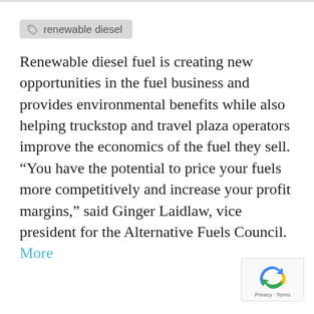renewable diesel
Renewable diesel fuel is creating new opportunities in the fuel business and provides environmental benefits while also helping truckstop and travel plaza operators improve the economics of the fuel they sell.  “You have the potential to price your fuels more competitively and increase your profit margins,” said Ginger Laidlaw, vice president for the Alternative Fuels Council. More